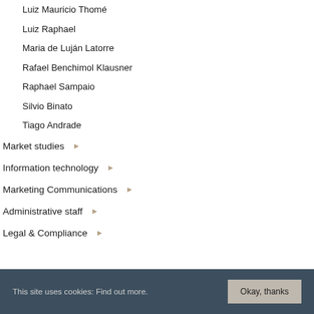Luiz Mauricio Thomé
Luiz Raphael
Maria de Luján Latorre
Rafael Benchimol Klausner
Raphael Sampaio
Silvio Binato
Tiago Andrade
Market studies ▶
Information technology ▶
Marketing Communications ▶
Administrative staff ▶
Legal & Compliance ▶
This site uses cookies: Find out more. Okay, thanks